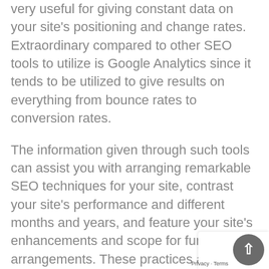very useful for giving constant data on your site's positioning and change rates. Extraordinary compared to other SEO tools to utilize is Google Analytics since it tends to be utilized to give results on everything from bounce rates to conversion rates.
The information given through such tools can assist you with arranging remarkable SEO techniques for your site, contrast your site's performance and different months and years, and feature your site's enhancements and scope for further arrangements. These practices are applicable today however it is ideal to refresh yourself on more up to date SEO patterns to remain in front of the opposition. Digital marketing service is Keen on having specialists help with these effective ecommerce SEO tips